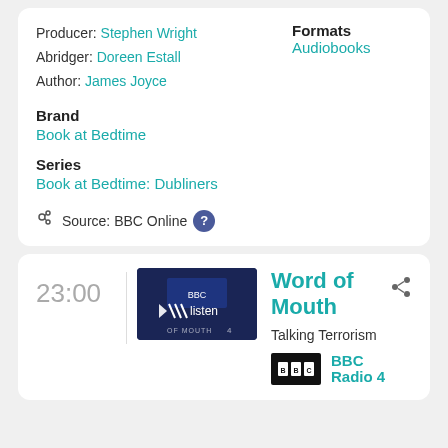Producer: Stephen Wright
Abridger: Doreen Estall
Author: James Joyce
Formats
Audiobooks
Brand
Book at Bedtime
Series
Book at Bedtime: Dubliners
Source: BBC Online
23:00
[Figure (screenshot): Thumbnail image showing 'Word of Mouth' BBC Radio 4 programme with a listen button overlay]
Word of Mouth
Talking Terrorism
BBC Radio 4